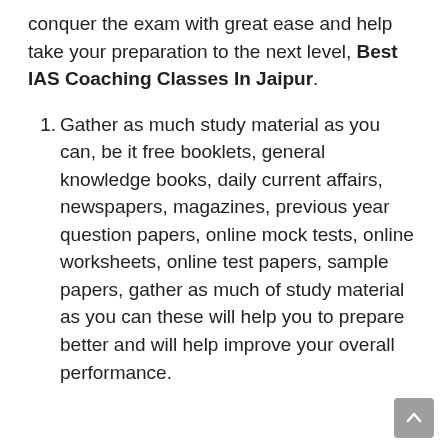conquer the exam with great ease and help take your preparation to the next level, Best IAS Coaching Classes In Jaipur.
Gather as much study material as you can, be it free booklets, general knowledge books, daily current affairs, newspapers, magazines, previous year question papers, online mock tests, online worksheets, online test papers, sample papers, gather as much of study material as you can these will help you to prepare better and will help improve your overall performance.